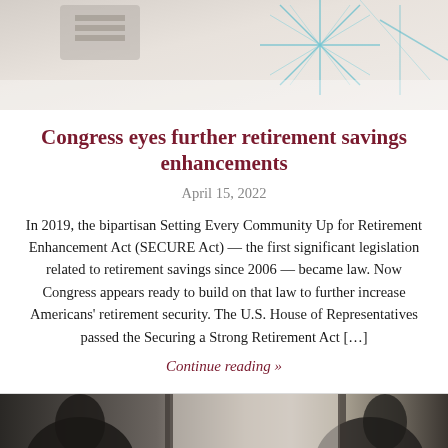[Figure (photo): Top portion of page showing a calculator or financial instrument with decorative teal/blue geometric snowflake-like lines overlay on a light background]
Congress eyes further retirement savings enhancements
April 15, 2022
In 2019, the bipartisan Setting Every Community Up for Retirement Enhancement Act (SECURE Act) — the first significant legislation related to retirement savings since 2006 — became law. Now Congress appears ready to build on that law to further increase Americans' retirement security. The U.S. House of Representatives passed the Securing a Strong Retirement Act […]
Continue reading »
[Figure (photo): Bottom portion showing two people in silhouette, one facing away and one facing right, appearing to be in a meeting or consultation setting]